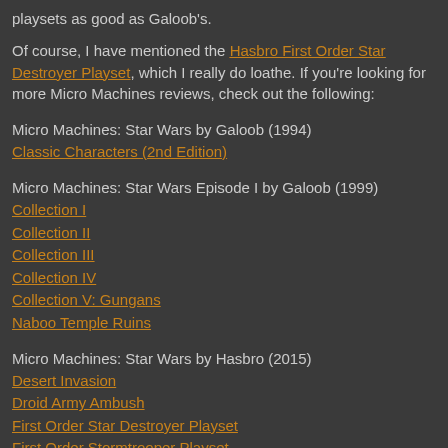playsets as good as Galoob's.
Of course, I have mentioned the Hasbro First Order Star Destroyer Playset, which I really do loathe. If you're looking for more Micro Machines reviews, check out the following:
Micro Machines: Star Wars by Galoob (1994)
Classic Characters (2nd Edition)
Micro Machines: Star Wars Episode I by Galoob (1999)
Collection I
Collection II
Collection III
Collection IV
Collection V: Gungans
Naboo Temple Ruins
Micro Machines: Star Wars by Hasbro (2015)
Desert Invasion
Droid Army Ambush
First Order Star Destroyer Playset
First Order Stormtrooper Playset